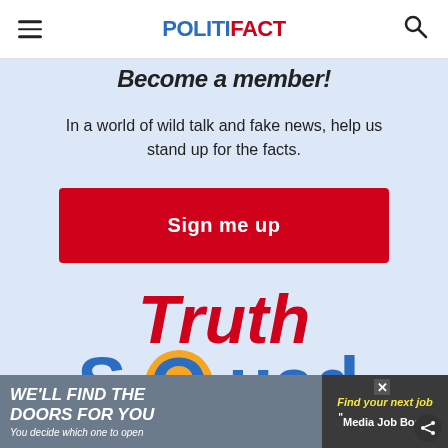POLITIFACT
Become a member!
In a world of wild talk and fake news, help us stand up for the facts.
Sign me up
[Figure (logo): Truth Squad logo with red 'Truth' text on top and blue 'SQuad' text below, with a gold/yellow 'O' circle in the word Squad]
[Figure (other): Advertisement banner: left side dark background with 'WE'LL FIND THE DOORS FOR YOU / You decide which one to open', right side dark background with 'Find your next job / Media Job Board']